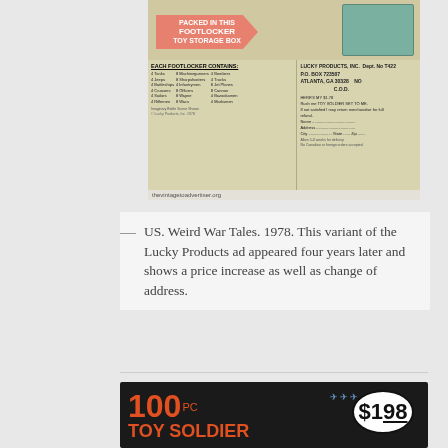[Figure (photo): Vintage Lucky Products toy soldier set advertisement from 1978, showing a footlocker toy storage box with an arrow graphic, contents list, and order form. Watermark: thevintagetoadvertiser.org]
— US. Weird War Tales. 1978. This variant of the Lucky Products ad appeared four years later and shows a price increase as well as change of address.
[Figure (photo): Bottom portion of a vintage advertisement showing '100 PC TOY SOLDIER' in large orange text on a black background, with a $1.98 price in a white oval badge.]